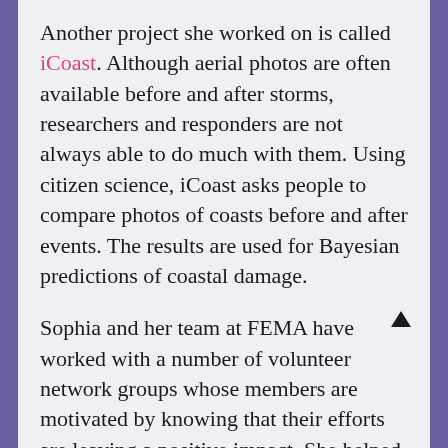Another project she worked on is called iCoast. Although aerial photos are often available before and after storms, researchers and responders are not always able to do much with them. Using citizen science, iCoast asks people to compare photos of coasts before and after events. The results are used for Bayesian predictions of coastal damage.
Sophia and her team at FEMA have worked with a number of volunteer network groups whose members are motivated by knowing that their efforts are leaving a positive impact. She helped FEMA recognize the value of these existing organizations and their established workflows. She and her team adapted to meet the volunteers on the platforms that they used, like Google and Slack. Sometimes hackathons are held to operationalize crowdsourcing for emergency management. Some of that material is available on GitHub.